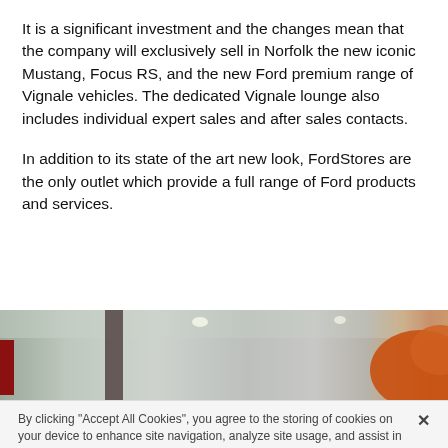It is a significant investment and the changes mean that the company will exclusively sell in Norfolk the new iconic Mustang, Focus RS, and the new Ford premium range of Vignale vehicles. The dedicated Vignale lounge also includes individual expert sales and after sales contacts.
In addition to its state of the art new look, FordStores are the only outlet which provide a full range of Ford products and services.
[Figure (photo): Interior photo of a Ford dealership showroom with ceiling lights visible, a dark structural column on the left side, and an orange vehicle or display element on the right side.]
By clicking "Accept All Cookies", you agree to the storing of cookies on your device to enhance site navigation, analyze site usage, and assist in our marketing efforts.
Cookies Settings
Accept All Cookies